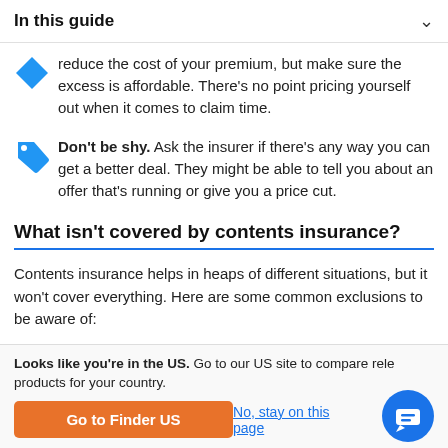In this guide
reduce the cost of your premium, but make sure the excess is affordable. There's no point pricing yourself out when it comes to claim time.
Don't be shy. Ask the insurer if there's any way you can get a better deal. They might be able to tell you about an offer that's running or give you a price cut.
What isn't covered by contents insurance?
Contents insurance helps in heaps of different situations, but it won't cover everything. Here are some common exclusions to be aware of:
Looks like you're in the US. Go to our US site to compare relevant products for your country.
Go to Finder US
No, stay on this page